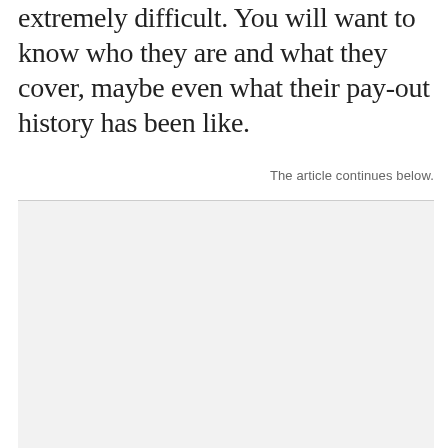extremely difficult. You will want to know who they are and what they cover, maybe even what their pay-out history has been like.
The article continues below.
[Figure (other): Advertisement or content placeholder box with light grey background and top border line]